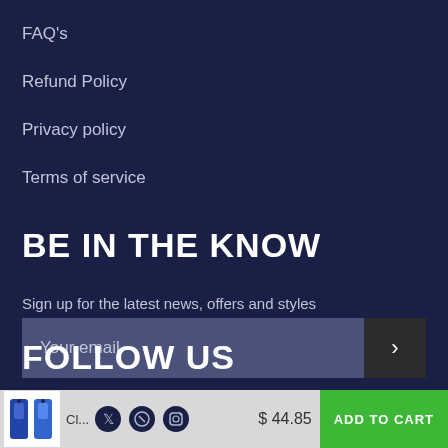FAQ's
Refund Policy
Privacy policy
Terms of service
BE IN THE KNOW
Sign up for the latest news, offers and styles
Your email
FOLLOW US
Cl... $ 44.85 ADD TO CART